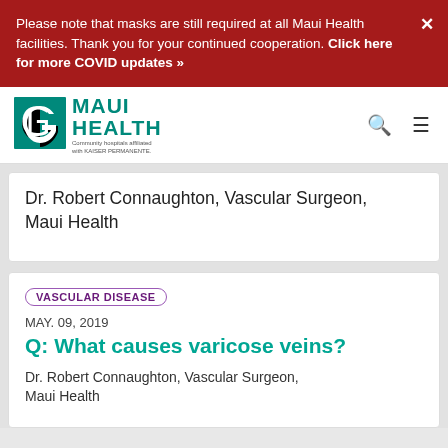Please note that masks are still required at all Maui Health facilities. Thank you for your continued cooperation. Click here for more COVID updates »
[Figure (logo): Maui Health logo — teal spiral icon with MAUI HEALTH text and 'Community hospitals affiliated with KAISER PERMANENTE.' tagline]
Dr. Robert Connaughton, Vascular Surgeon, Maui Health
VASCULAR DISEASE
MAY. 09, 2019
Q: What causes varicose veins?
Dr. Robert Connaughton, Vascular Surgeon, Maui Health